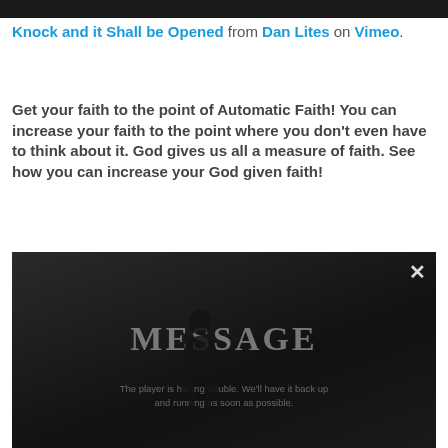Knock and it Shall be Opened from Dan Lites on Vimeo.
Get your faith to the point of Automatic Faith! You can increase your faith to the point where you don't even have to think about it. God gives us all a measure of faith. See how you can increase your God given faith!
[Figure (screenshot): Dark video player screenshot showing a person silhouette in front of a screen displaying the word MESSAGE, with an error overlay reading 'The player is having trouble. We'll have it back up and running as soon as possible.' and a close (X) button in the upper right.]